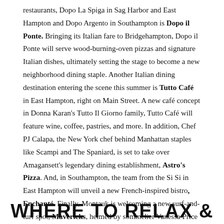restaurants, Dopo La Spiga in Sag Harbor and East Hampton and Dopo Argento in Southampton is Dopo il Ponte. Bringing its Italian fare to Bridgehampton, Dopo il Ponte will serve wood-burning-oven pizzas and signature Italian dishes, ultimately setting the stage to become a new neighborhood dining staple. Another Italian dining destination entering the scene this summer is Tutto Café in East Hampton, right on Main Street. A new café concept in Donna Karan's Tutto Il Giorno family, Tutto Café will feature wine, coffee, pastries, and more. In addition, Chef PJ Calapa, the New York chef behind Manhattan staples like Scampi and The Spaniard, is set to take over Amagansett's legendary dining establishment, Astro's Pizza. And, in Southampton, the team from the Si Si in East Hampton will unveil a new French-inspired bistro, Enchanté. Finally, Montauk is welcoming a new surf-and-turf spot, Mavericks, helmed by sommelier Vanessa Price and chef Jeremy Blutstein, who have opted to define their establishment thusly: 'A Steak Place. But not a Steak Place.'
WHERE TO RELAX &